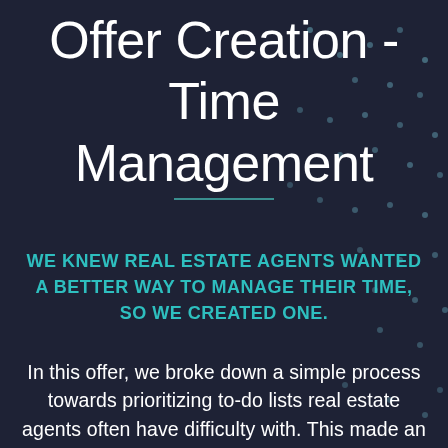Offer Creation - Time Management
WE KNEW REAL ESTATE AGENTS WANTED A BETTER WAY TO MANAGE THEIR TIME, SO WE CREATED ONE.
In this offer, we broke down a simple process towards prioritizing to-do lists real estate agents often have difficulty with. This made an